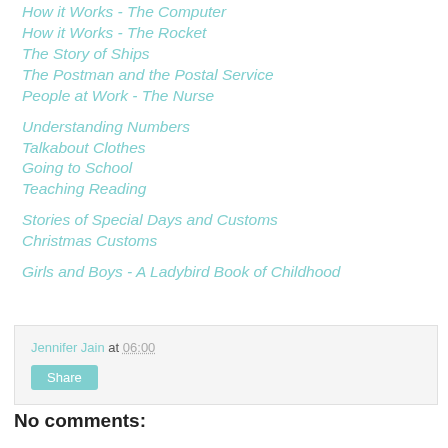How it Works - The Computer
How it Works - The Rocket
The Story of Ships
The Postman and the Postal Service
People at Work - The Nurse
Understanding Numbers
Talkabout Clothes
Going to School
Teaching Reading
Stories of Special Days and Customs
Christmas Customs
Girls and Boys - A Ladybird Book of Childhood
Jennifer Jain at 06:00
Share
No comments: